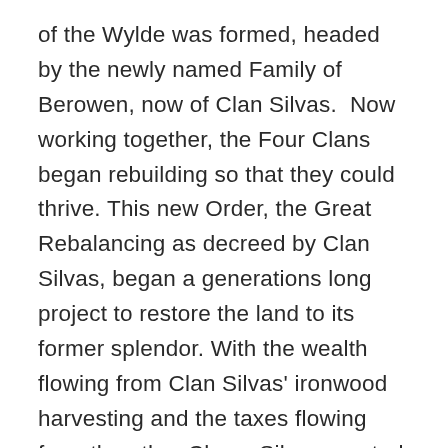of the Wylde was formed, headed by the newly named Family of Berowen, now of Clan Silvas.  Now working together, the Four Clans began rebuilding so that they could thrive.  This new Order, the Great Rebalancing as decreed by Clan Silvas, began a generations long project to restore the land to its former splendor. With the wealth flowing from Clan Silvas' ironwood harvesting and the taxes flowing from the other Clans, Silvas created The Wyld Wood, a Druidic college that accepts anyone of magical talent to train them in the Anchoring and the supporting tasks that accompany the creation of an